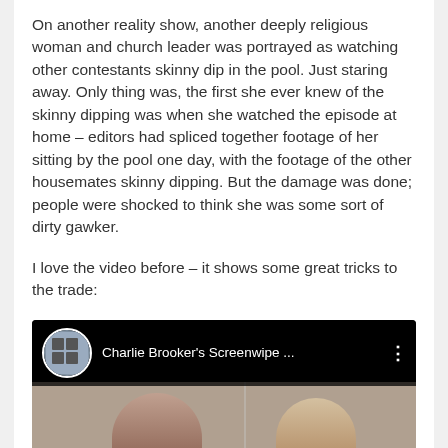On another reality show, another deeply religious woman and church leader was portrayed as watching other contestants skinny dip in the pool. Just staring away. Only thing was, the first she ever knew of the skinny dipping was when she watched the episode at home – editors had spliced together footage of her sitting by the pool one day, with the footage of the other housemates skinny dipping. But the damage was done; people were shocked to think she was some sort of dirty gawker.
I love the video before – it shows some great tricks to the trade:
[Figure (screenshot): YouTube video thumbnail showing Charlie Brooker's Screenwipe with two people visible at the bottom of the frame, and the video title bar at the top with channel avatar.]